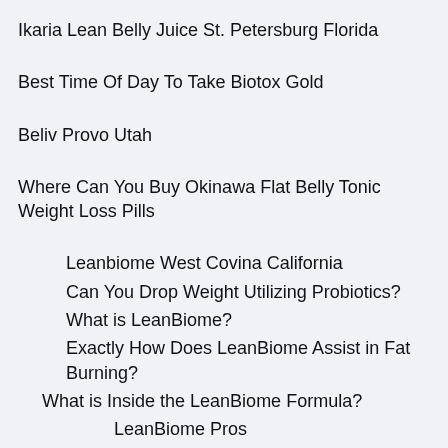Ikaria Lean Belly Juice St. Petersburg Florida
Best Time Of Day To Take Biotox Gold
Beliv Provo Utah
Where Can You Buy Okinawa Flat Belly Tonic Weight Loss Pills
Leanbiome West Covina California
Can You Drop Weight Utilizing Probiotics?
What is LeanBiome?
Exactly How Does LeanBiome Assist in Fat Burning?
What is Inside the LeanBiome Formula?
LeanBiome Pros